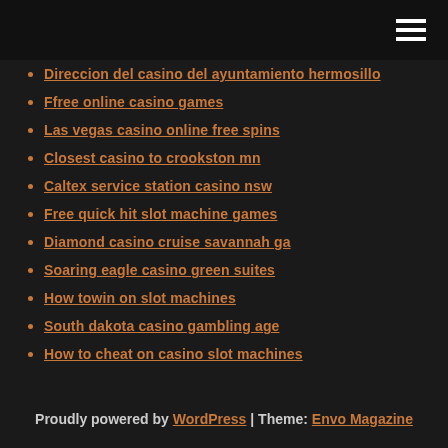hamburger menu icon
Direccion del casino del ayuntamiento hermosillo
Ffree online casino games
Las vegas casino online free spins
Closest casino to crookston mn
Caltex service station casino nsw
Free quick hit slot machine games
Diamond casino cruise savannah ga
Soaring eagle casino green suites
How towin on slot machines
South dakota casino gambling age
How to cheat on casino slot machines
Proudly powered by WordPress | Theme: Envo Magazine